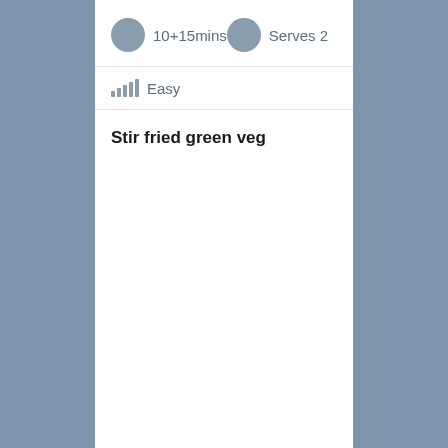10+15mins
Serves 2
Easy
Stir fried green veg